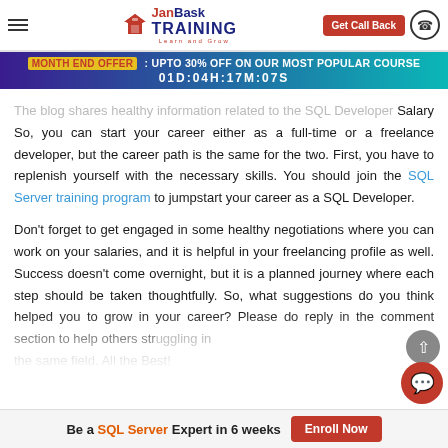JanBask TRAINING — Learn and Grow | Get Call Back
MONTH END OFFER : UPTO 30% OFF ON OUR MOST POPULAR COURSE — 01D:04H:17M:07S
The blog shares healthy information related to the SQL Developer Salary So, you can start your career either as a full-time or a freelance developer, but the career path is the same for the two. First, you have to replenish yourself with the necessary skills. You should join the SQL Server training program to jumpstart your career as a SQL Developer.
Don't forget to get engaged in some healthy negotiations where you can work on your salaries, and it is helpful in your freelancing profile as well. Success doesn't come overnight, but it is a planned journey where each step should be taken thoughtfully. So, what suggestions do you think helped you to grow in your career? Please do reply in the comment section to help others str... in the same field. All the Best!
Be a SQL Server Expert in 6 weeks  Enroll Now